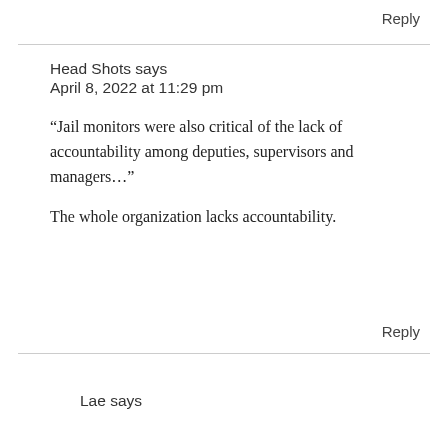Reply
Head Shots says
April 8, 2022 at 11:29 pm
“Jail monitors were also critical of the lack of accountability among deputies, supervisors and managers…”
The whole organization lacks accountability.
Reply
Lae says